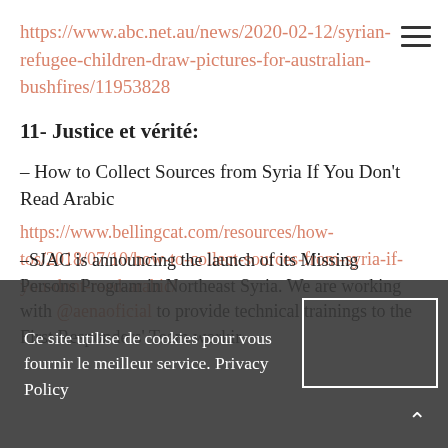https://www.abc.net.au/news/2020-02-12/syrian-refugee-children-draw-pictures-for-australian-bushfires/11953828
11- Justice et vérité:
– How to Collect Sources from Syria If You Don't Read Arabic
https://www.bellingcat.com/resources/how-tos/2018/07/10/how-to-collect-sources-from-syria-if-you-dont-read-arabic/
–SJAC is announcing the launch of its Missing Persons Program in Northeast Syria. We are working with @aenaoficial to provide technical trainings to the First Responders' Team workir
Ce site utilise de cookies pour vous fournir le meilleur service. Privacy Policy